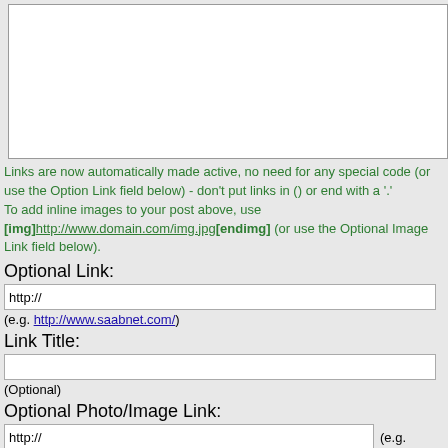[Figure (screenshot): White textarea input box (empty)]
Links are now automatically made active, no need for any special code (or use the Option Link field below) - don't put links in () or end with a '.'
To add inline images to your post above, use
[img]http://www.domain.com/img.jpg[endimg] (or use the Optional Image Link field below).
Optional Link:
http://
(e.g. http://www.saabnet.com/)
Link Title:
(Optional)
Optional Photo/Image Link:
http://
(e.g. http://www.saabnet.com/img.jpg)
Photo/Image to Upload: (Please be patient while file uploads)
Choose File  No file chosen